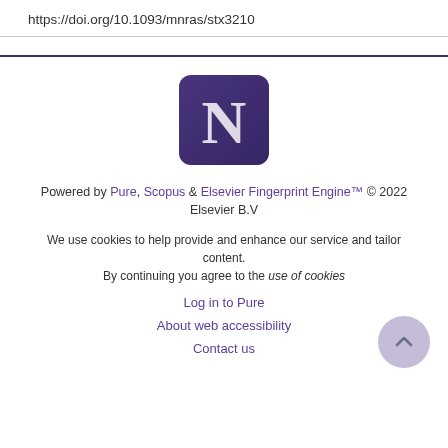https://doi.org/10.1093/mnras/stx3210
[Figure (logo): Northwestern University 'N' logo in a purple rounded-rectangle box]
Powered by Pure, Scopus & Elsevier Fingerprint Engine™ © 2022 Elsevier B.V
We use cookies to help provide and enhance our service and tailor content. By continuing you agree to the use of cookies
Log in to Pure
About web accessibility
Contact us